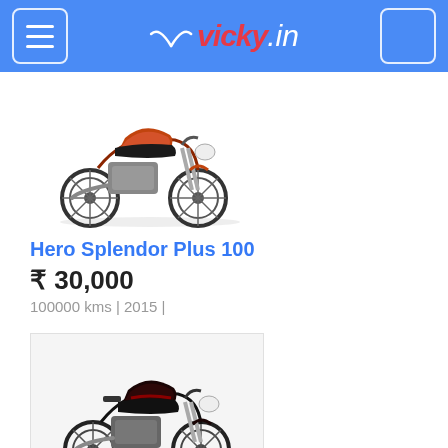vicky.in
[Figure (photo): Hero Splendor Plus 100 red motorcycle, side view, on white background]
Hero Splendor Plus 100
₹ 30,000
100000 kms | 2015 |
[Figure (photo): Hero HF-Deluxe black motorcycle, side view, on light grey background]
Hero HF-Deluxe
₹ 50,000